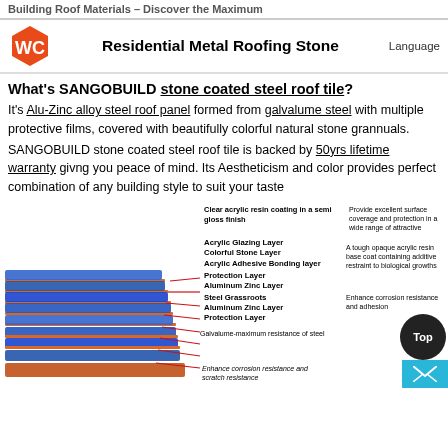Building Roof Materials – Discover the Maximum Residential Metal Roofing Stone Language
What's SANGOBUILD stone coated steel roof tile?
It's Alu-Zinc alloy steel roof panel formed from galvalume steel with multiple protective films, covered with beautifully colorful natural stone grannuals.
SANGOBUILD stone coated steel roof tile is backed by 50yrs lifetime warranty givng you peace of mind. Its Aestheticism and color provides perfect combination of any building style to suit your taste
[Figure (engineering-diagram): Cross-section diagram of stone coated steel roof tile layers: Clear acrylic resin coating (semi gloss finish), Acrylic Glazing Layer, Colorful Stone Layer, Acrylic Adhesive Bonding layer, Protection Layer, Aluminum Zinc Layer, Steel Grassroots, Aluminum Zinc Layer, Protection Layer. Annotations describe each layer's function.]